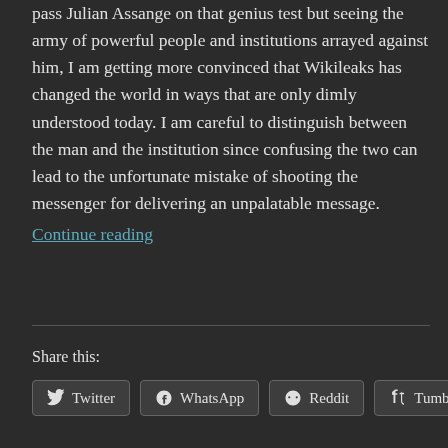pass Julian Assange on that genius test but seeing the army of powerful people and institutions arrayed against him, I am getting more convinced that Wikileaks has changed the world in ways that are only dimly understood today. I am careful to distinguish between the man and the institution since confusing the two can lead to the unfortunate mistake of shooting the messenger for delivering an unpalatable message.
Continue reading
Share this:
Twitter  WhatsApp  Reddit  Tumblr